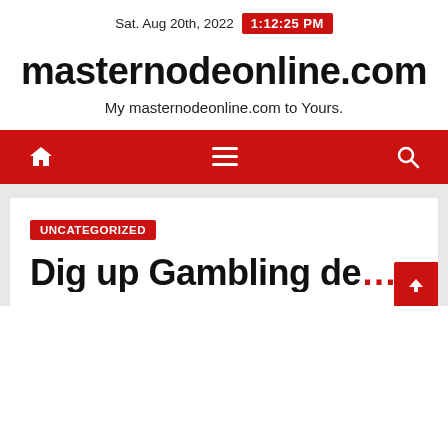Sat. Aug 20th, 2022  1:12:25 PM
masternodeonline.com
My masternodeonline.com to Yours.
Navigation bar with home, menu, and search icons
UNCATEGORIZED
Dig up Gambling de…